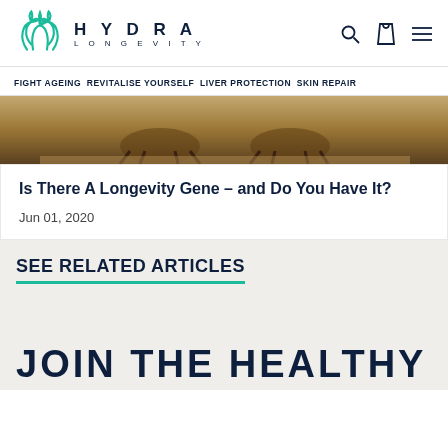HYDRA LONGEVITY
FIGHT AGEING REVITALISE YOURSELF LIVER PROTECTION SKIN REPAIR
[Figure (photo): Photo of outdoor chairs/furniture from above, warm toned]
Is There A Longevity Gene – and Do You Have It?
Jun 01, 2020
SEE RELATED ARTICLES
JOIN THE HEALTHY